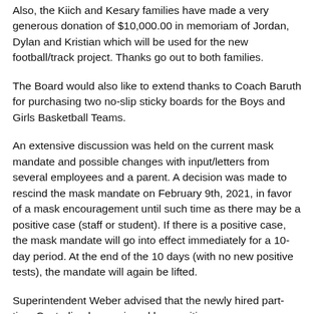Also, the Kiich and Kesary families have made a very generous donation of $10,000.00 in memoriam of Jordan, Dylan and Kristian which will be used for the new football/track project. Thanks go out to both families.
The Board would also like to extend thanks to Coach Baruth for purchasing two no-slip sticky boards for the Boys and Girls Basketball Teams.
An extensive discussion was held on the current mask mandate and possible changes with input/letters from several employees and a parent. A decision was made to rescind the mask mandate on February 9th, 2021, in favor of a mask encouragement until such time as there may be a positive case (staff or student). If there is a positive case, the mask mandate will go into effect immediately for a 10-day period. At the end of the 10 days (with no new positive tests), the mandate will again be lifted.
Superintendent Weber advised that the newly hired part-time Custodian has resigned her position.
Discussion was held on an option to repair/replace the gymnasium